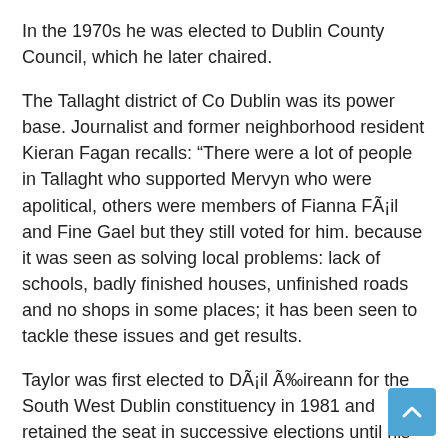In the 1970s he was elected to Dublin County Council, which he later chaired.
The Tallaght district of Co Dublin was its power base. Journalist and former neighborhood resident Kieran Fagan recalls: “There were a lot of people in Tallaght who supported Mervyn who were apolitical, others were members of Fianna Fáil and Fine Gael but they still voted for him. because it was seen as solving local problems: lack of schools, badly finished houses, unfinished roads and no shops in some places; it has been seen to tackle these issues and get results.
Taylor was first elected to Dáil Éireann for the South West Dublin constituency in 1981 and retained the seat in successive elections until his retirement as TD in 1997. He dominated the ballot in 1989 and repeated this feat in 1992 when he took office. the first account.
He chaired the Irish Labor Party for four years, from 1987 to